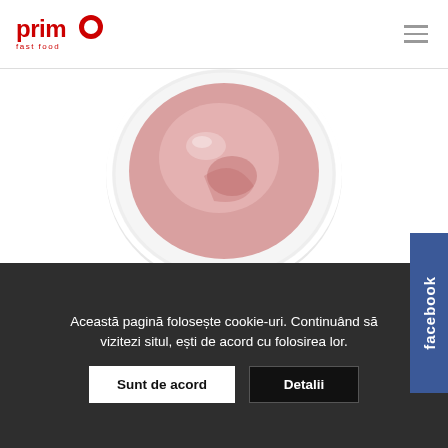[Figure (logo): Primo fast food logo — red text with a red circle forming the letter O]
[Figure (photo): A white ceramic ramekin bowl filled with pink/red sauce (ketchup or tomato sauce), viewed from above, on a white background]
Această pagină folosește cookie-uri. Continuând să vizitezi situl, ești de acord cu folosirea lor.
Sunt de acord
Detalii
facebook